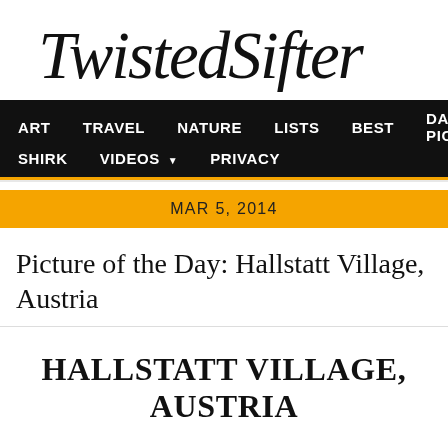[Figure (logo): TwistedSifter handwritten/script logo in black ink on white background]
ART  TRAVEL  NATURE  LISTS  BEST  DAILY PIC  SHIRK  VIDEOS  PRIVACY
MAR 5, 2014
Picture of the Day: Hallstatt Village, Austria
HALLSTATT VILLAGE, AUSTRIA